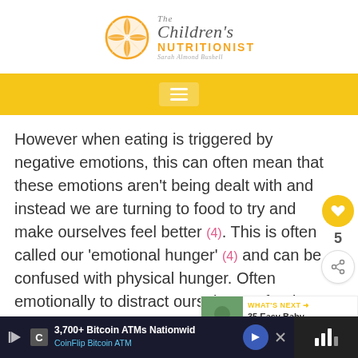[Figure (logo): The Children's Nutritionist logo with orange slice graphic and text 'The Children's NUTRITIONIST - Sarah Almond Bushell']
[Figure (screenshot): Yellow navigation bar with hamburger menu icon (three white lines on grey-tinted background)]
However when eating is triggered by negative emotions, this can often mean that these emotions aren't being dealt with and instead we are turning to food to try and make ourselves feel better (4). This is often called our 'emotional hunger' (4) and can be confused with physical hunger. Often emotionally to distract ourselves or food makes us feel good.
[Figure (screenshot): Sidebar social sharing buttons: heart icon in yellow circle with count 5 below, and share icon in white circle]
[Figure (screenshot): WHAT'S NEXT banner with thumbnail image and text '35 Easy Baby Led Weanin...']
[Figure (screenshot): Advertisement bar: '3,700+ Bitcoin ATMs Nationwid' and 'CoinFlip Bitcoin ATM' in dark background with arrow icon. Right side mute/audio icon area.]